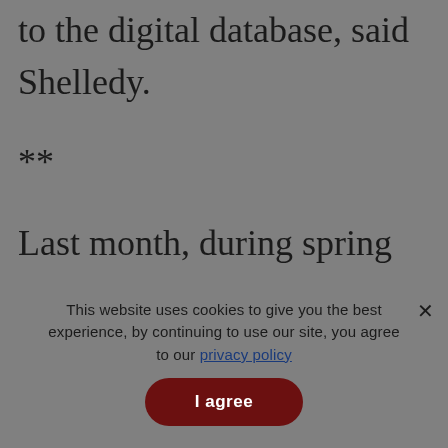requests. When released, they will be added to the digital database, said Shelledy.
**
Last month, during spring break, Shelledy, Williams, and Olivia McClure, a graduate student in Mass Comm, spent four days in
This website uses cookies to give you the best experience, by continuing to use our site, you agree to our privacy policy